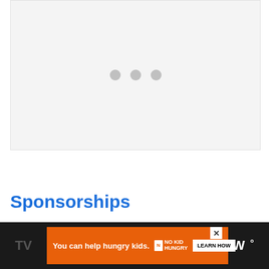[Figure (other): Video player placeholder with light gray background and three gray loading dots in the center]
Sponsorships
[Figure (other): Advertisement banner: orange background ad for No Kid Hungry charity with 'You can help hungry kids.' text and 'LEARN HOW' button, on dark background bar with TV brand logo]